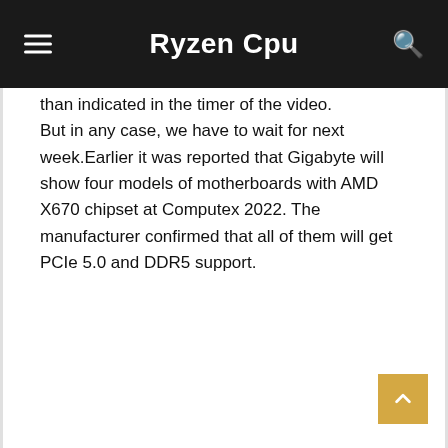Ryzen Cpu
than indicated in the timer of the video. But in any case, we have to wait for next week.Earlier it was reported that Gigabyte will show four models of motherboards with AMD X670 chipset at Computex 2022. The manufacturer confirmed that all of them will get PCIe 5.0 and DDR5 support.